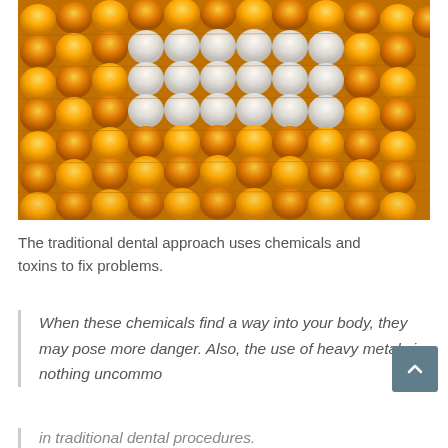[Figure (photo): Close-up photo of corn on the cob with a rectangular patch of white/pale kernels in the center surrounded by yellow/orange kernels, resembling teeth.]
The traditional dental approach uses chemicals and toxins to fix problems.
When these chemicals find a way into your body, they may pose more danger. Also, the use of heavy metals is nothing uncommon in traditional dental procedures.